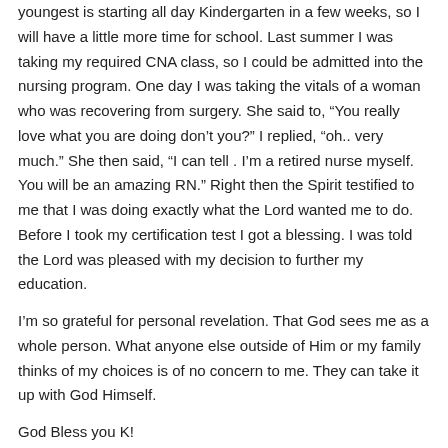youngest is starting all day Kindergarten in a few weeks, so I will have a little more time for school. Last summer I was taking my required CNA class, so I could be admitted into the nursing program. One day I was taking the vitals of a woman who was recovering from surgery. She said to, “You really love what you are doing don’t you?” I replied, “oh.. very much.” She then said, “I can tell . I’m a retired nurse myself. You will be an amazing RN.” Right then the Spirit testified to me that I was doing exactly what the Lord wanted me to do. Before I took my certification test I got a blessing. I was told the Lord was pleased with my decision to further my education.
I’m so grateful for personal revelation. That God sees me as a whole person. What anyone else outside of Him or my family thinks of my choices is of no concern to me. They can take it up with God Himself.
God Bless you K!
Reply